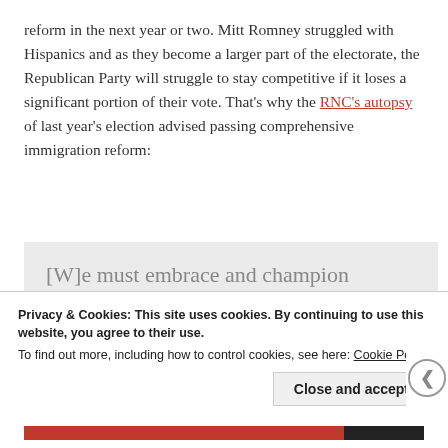reform in the next year or two. Mitt Romney struggled with Hispanics and as they become a larger part of the electorate, the Republican Party will struggle to stay competitive if it loses a significant portion of their vote. That's why the RNC's autopsy of last year's election advised passing comprehensive immigration reform:
[W]e must embrace and champion comprehensive immigration reform. If we do not, our Party's appeal will
Privacy & Cookies: This site uses cookies. By continuing to use this website, you agree to their use.
To find out more, including how to control cookies, see here: Cookie Policy